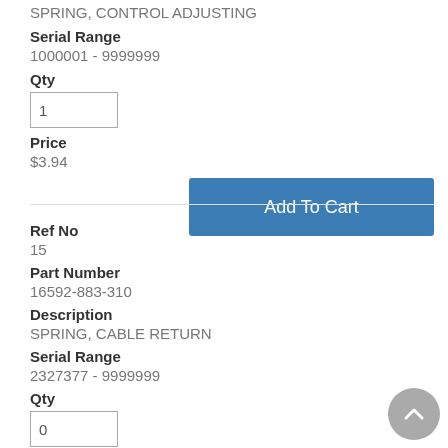SPRING, CONTROL ADJUSTING
Serial Range
1000001 - 9999999
Qty
1
Price
$3.94
Add To Cart
Ref No
15
Part Number
16592-883-310
Description
SPRING, CABLE RETURN
Serial Range
2327377 - 9999999
Qty
0